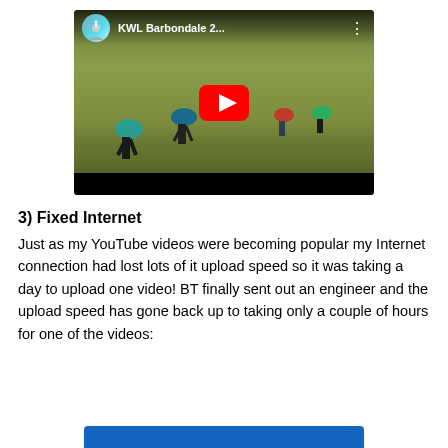[Figure (screenshot): YouTube video thumbnail showing runners on moorland during a fell race, titled 'KWL Barbondale 2...' with a red YouTube play button in the center.]
3) Fixed Internet
Just as my YouTube videos were becoming popular my Internet connection had lost lots of it upload speed so it was taking a day to upload one video! BT finally sent out an engineer and the upload speed has gone back up to taking only a couple of hours for one of the videos: